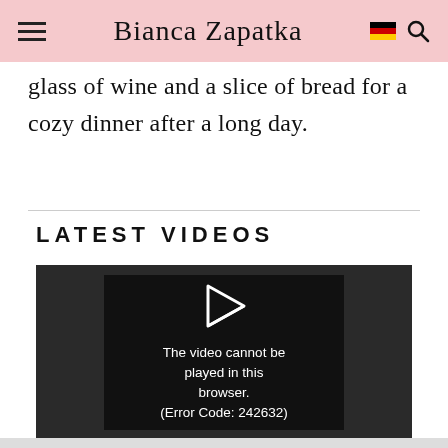Bianca Zapatka
glass of wine and a slice of bread for a cozy dinner after a long day.
LATEST VIDEOS
[Figure (screenshot): Video player showing error: The video cannot be played in this browser. (Error Code: 242632)]